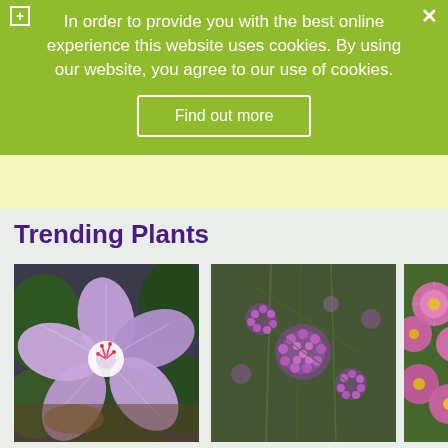In order to provide you with the best online experience this website uses cookies. By using our website, you agree to our use of cookies.
Find out more
Trending Plants
[Figure (photo): Close-up photo of a purple/lavender Geranium 'Rozanne' flower with white center]
Geranium 'Rozanne' (P)
[Figure (photo): Photo of Verbena bonariensis with clusters of small purple flowers on thin stems against green background]
Verbena bonariensis
[Figure (photo): Partial photo of Erigeron with pink daisy-like flowers]
Erige